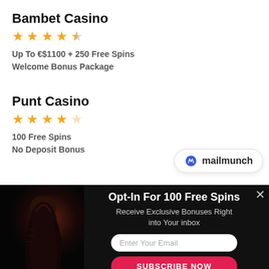Bambet Casino
[Figure (other): 4.5 star rating (4 full stars, 1 half star) in gold]
Up To €$1100 + 250 Free Spins
Welcome Bonus Package
Punt Casino
[Figure (other): 4 star rating (4 full stars, 1 empty star) in gold]
100 Free Spins
No Deposit Bonus
[Figure (logo): Mailmunch logo badge with blue M icon and text 'mailmunch']
[Figure (other): Dark popup overlay with creature/horror image on left. Contains opt-in form with title 'Opt-In For 100 Free Spins', subtitle 'Receive Exclusive Bonuses Right into Your inbox', email input field, and 'SUBSCRIBE NOW' button. Has X close button. Powered by mailmunch.]